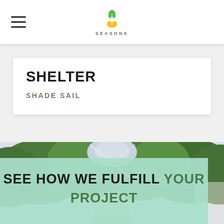SEASONS
SHELTER
SHADE SAIL
[Figure (photo): Outdoor walkway with shade sail structure and trees on both sides, viewed from below looking up]
SEE HOW WE FULFILL YOUR PROJECT